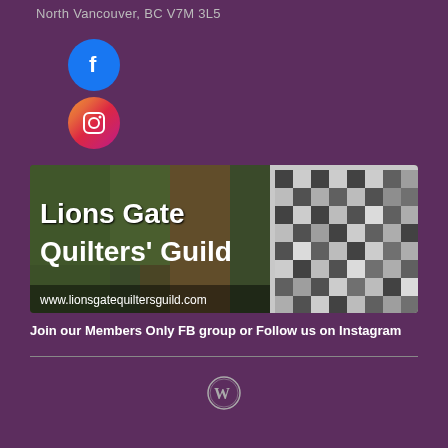North Vancouver, BC V7M 3L5
[Figure (illustration): Facebook circular icon - blue circle with white Facebook 'f' logo]
[Figure (illustration): Instagram circular icon - gradient pink/orange circle with white Instagram camera logo]
[Figure (photo): Lions Gate Quilters' Guild banner image showing trees and a quilt on the right side with white bold text reading 'Lions Gate Quilters' Guild' and website url www.lionsgatequiltersguild.com at the bottom]
Join our Members Only FB group or Follow us on Instagram
[Figure (logo): WordPress circular logo icon in outline style, white/gray on purple background]